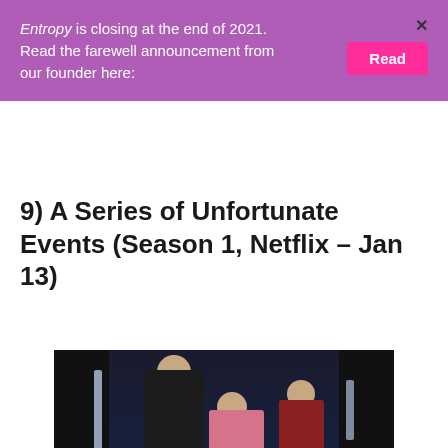Entropy is closing at the end of 2021. Read the farewell announcement from our founder here:
9) A Series of Unfortunate Events (Season 1, Netflix – Jan 13)
[Figure (photo): Dark atmospheric scene from A Series of Unfortunate Events showing characters including a tall dark-clad figure, a girl in pink holding a baby, and another figure, framed by door panels with light strips]